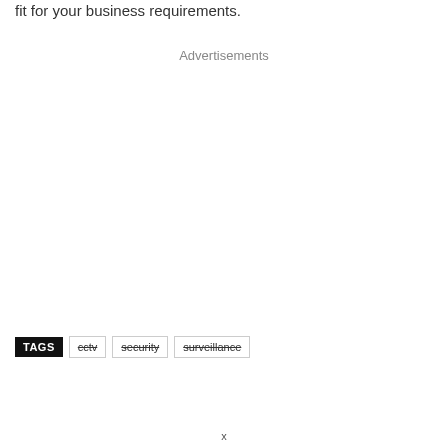fit for your business requirements.
Advertisements
TAGS   cctv   security   surveillance
x